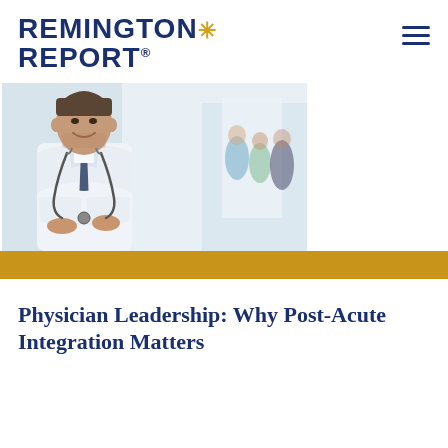REMINGTON REPORT.
[Figure (photo): A smiling male physician in a white lab coat with arms crossed and a stethoscope around his neck, standing in a hospital corridor with other medical staff blurred in the background.]
Physician Leadership: Why Post-Acute Integration Matters